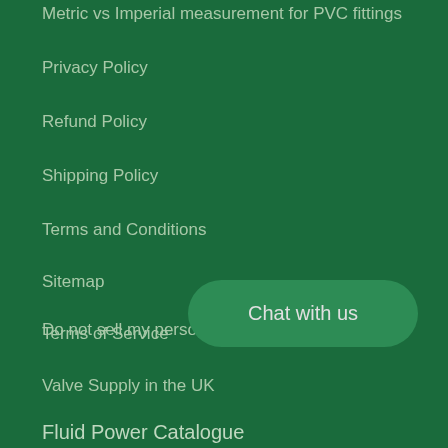Metric vs Imperial measurement for PVC fittings
Privacy Policy
Refund Policy
Shipping Policy
Terms and Conditions
Sitemap
Terms of Service
Valve Supply in the UK
Do not sell my personal information
Chat with us
Fluid Power Catalogue